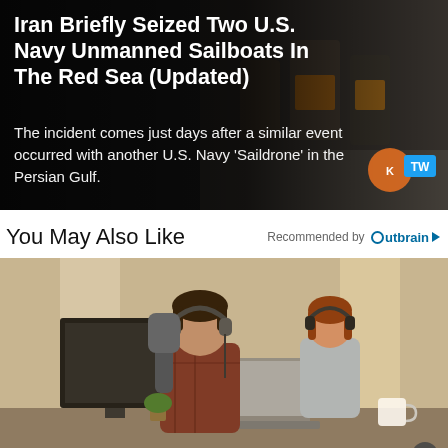[Figure (photo): News article card with dark background showing people near boats/sailboats, with bold white headline and subtitle text overlay. A TW (Twitter) badge appears bottom right.]
Iran Briefly Seized Two U.S. Navy Unmanned Sailboats In The Red Sea (Updated)
The incident comes just days after a similar event occurred with another U.S. Navy 'Saildrone' in the Persian Gulf.
You May Also Like
Recommended by Outbrain
[Figure (photo): Advertisement photo showing two people wearing headphones working at computer workstations in an office setting. A close (X) button appears in the bottom right corner.]